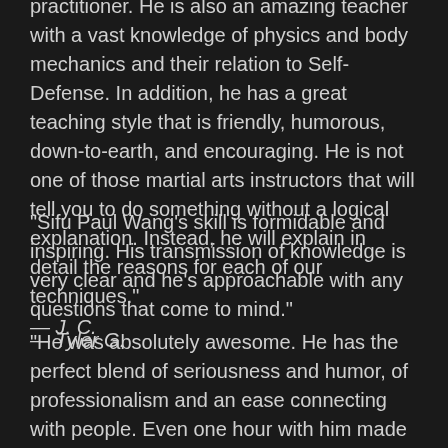practitioner. He is also an amazing teacher with a vast knowledge of physics and body mechanics and their relation to Self-Defense. In addition, he has a great teaching style that is friendly, humorous, down-to-earth, and encouraging. He is not one of those martial arts instructors that will tell you to do something without a logical explanation. Instead, he will explain in detail the reasons for each of our techniques."
— J. C.
"Sifu Paul Wang's skill is formidable and inspiring. His transmission of knowledge is very clear and he's approachable with any questions that come to mind."
— Tyler G.
"He was absolutely awesome. He has the perfect blend of seriousness and humor, of professionalism and an ease connecting with people. Even one hour with him made a profound impact on the kids and myself! We learned and embodied some very important principles, along with some very powerful tools that we could put into practice immediately. I highly recommend Paul's mentoring to anyone looking to grow themselves